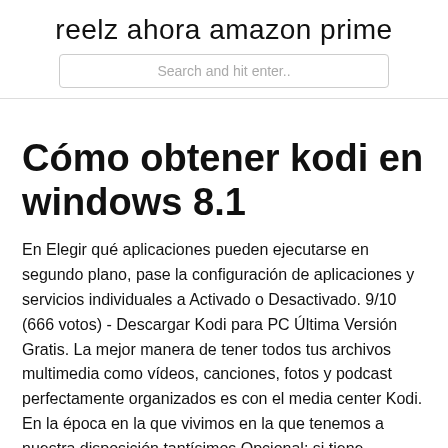reelz ahora amazon prime
Cómo obtener kodi en windows 8.1
En Elegir qué aplicaciones pueden ejecutarse en segundo plano, pase la configuración de aplicaciones y servicios individuales a Activado o Desactivado. 9/10 (666 votos) - Descargar Kodi para PC Última Versión Gratis. La mejor manera de tener todos tus archivos multimedia como vídeos, canciones, fotos y podcast perfectamente organizados es con el media center Kodi. En la época en la que vivimos en la que tenemos a nuestra disposición tantísimos Opcional: si tiene Windows 10 o Windows 8 (no 8.1) o si su contraseña de Wi-Fi no está guardada en su sistema y todavía necesita conocerla.